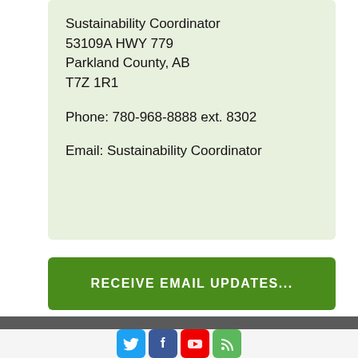Sustainability Coordinator
53109A HWY 779
Parkland County, AB
T7Z 1R1

Phone: 780-968-8888 ext. 8302

Email: Sustainability Coordinator
RECEIVE EMAIL UPDATES...
[Figure (infographic): Social media icons row: Twitter (blue bird), Facebook (blue f), YouTube (red play button), RSS feed (green)]